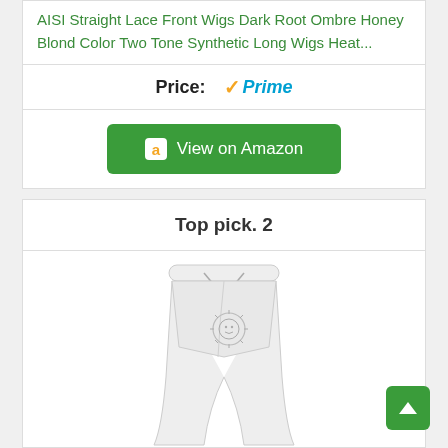AISI Straight Lace Front Wigs Dark Root Ombre Honey Blond Color Two Tone Synthetic Long Wigs Heat...
Price:
[Figure (logo): Amazon Prime logo with orange checkmark and blue Prime text]
[Figure (other): Green View on Amazon button with Amazon 'a' logo]
Top pick. 2
[Figure (photo): White sweatpants with a sun graphic logo on the leg, displayed on white background]